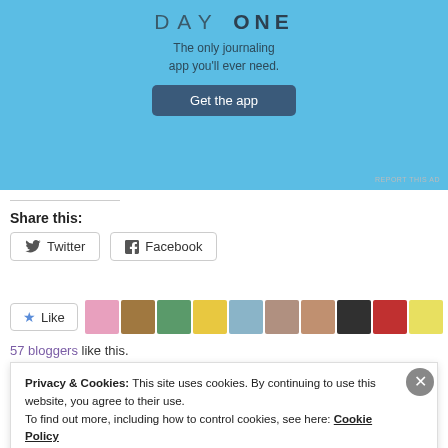[Figure (screenshot): Day One journaling app advertisement banner on blue background with sparkles, showing 'DAY ONE' title, 'The only journaling app you'll ever need.' tagline, and 'Get the app' button]
REPORT THIS AD
Share this:
Twitter  Facebook
[Figure (other): Like button with star icon followed by a row of blogger avatar thumbnails]
57 bloggers like this.
Privacy & Cookies: This site uses cookies. By continuing to use this website, you agree to their use.
To find out more, including how to control cookies, see here: Cookie Policy
Close and accept